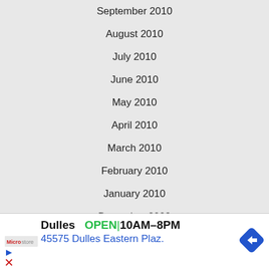September 2010
August 2010
July 2010
June 2010
May 2010
April 2010
March 2010
February 2010
January 2010
December 2009
November 2009
October 2009
September 2009
[Figure (infographic): Advertisement banner for Dulles store: OPEN 10AM-8PM, 45575 Dulles Eastern Plaz. with navigation arrow icon and media controls.]